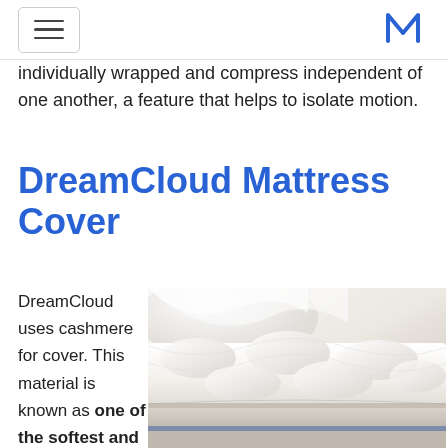[hamburger menu] [M logo]
individually wrapped and compress independent of one another, a feature that helps to isolate motion.
DreamCloud Mattress Cover
DreamCloud uses cashmere for cover. This material is known as one of the softest and most
[Figure (photo): Close-up photo of a white quilted DreamCloud mattress cover/pillow top, showing plush texture and construction details.]